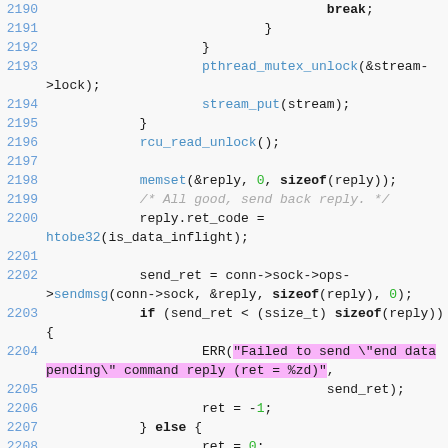[Figure (screenshot): Source code listing showing C code lines 2190-2208 with syntax highlighting. Line numbers in blue on left, keywords and function names in blue, numbers in green, a string argument highlighted in pink/magenta, and a comment in gray italic.]